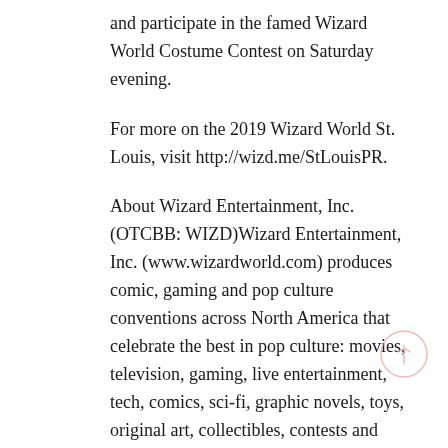and participate in the famed Wizard World Costume Contest on Saturday evening.
For more on the 2019 Wizard World St. Louis, visit http://wizd.me/StLouisPR.
About Wizard Entertainment, Inc. (OTCBB: WIZD)Wizard Entertainment, Inc. (www.wizardworld.com) produces comic, gaming and pop culture conventions across North America that celebrate the best in pop culture: movies, television, gaming, live entertainment, tech, comics, sci-fi, graphic novels, toys, original art, collectibles, contests and more. A first-class lineup of topical programming and entertainment takes place at each event, with celebrity Q&A's, comics-themed sessions, costume contests, movie screenings, evening parties